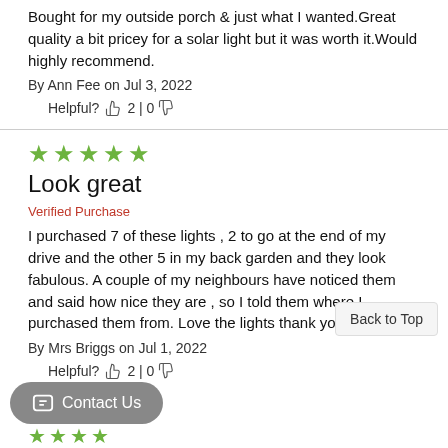Bought for my outside porch & just what I wanted.Great quality a bit pricey for a solar light but it was worth it.Would highly recommend.
By Ann Fee on Jul 3, 2022
Helpful?  2 | 0
[Figure (other): Five green star rating icons]
Look great
Verified Purchase
I purchased 7 of these lights , 2 to go at the end of my drive and the other 5 in my back garden and they look fabulous. A couple of my neighbours have noticed them and said how nice they are , so I told them where I purchased them from. Love the lights thank you
By Mrs Briggs on Jul 1, 2022
Helpful?  2 | 0
Back to Top
Contact Us
[Figure (other): Partial green star rating icons at bottom]